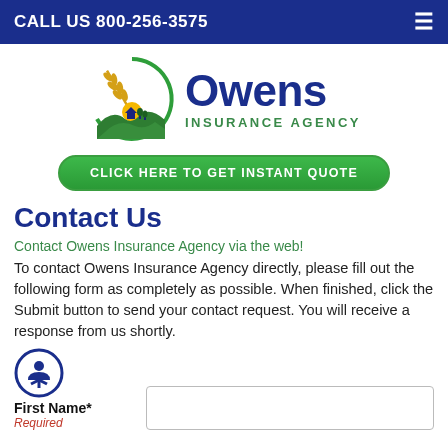CALL US 800-256-3575
[Figure (logo): Owens Insurance Agency logo with wheat stalk, circular farm landscape emblem, and text 'Owens INSURANCE AGENCY']
CLICK HERE TO GET INSTANT QUOTE
Contact Us
Contact Owens Insurance Agency via the web!
To contact Owens Insurance Agency directly, please fill out the following form as completely as possible. When finished, click the Submit button to send your contact request. You will receive a response from us shortly.
First Name* Required